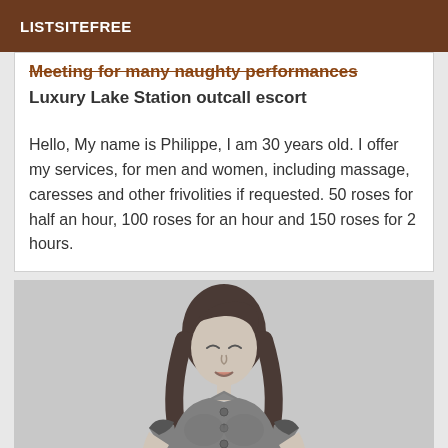LISTSITEFREE
Meeting for many naughty performances
Luxury Lake Station outcall escort
Hello, My name is Philippe, I am 30 years old. I offer my services, for men and women, including massage, caresses and other frivolities if requested. 50 roses for half an hour, 100 roses for an hour and 150 roses for 2 hours.
[Figure (illustration): Grayscale illustration of a woman with dark shoulder-length hair, eyes closed, wearing a fitted button-up short-sleeve top]